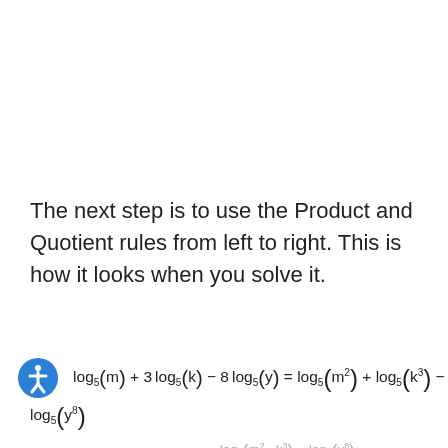The next step is to use the Product and Quotient rules from left to right. This is how it looks when you solve it.